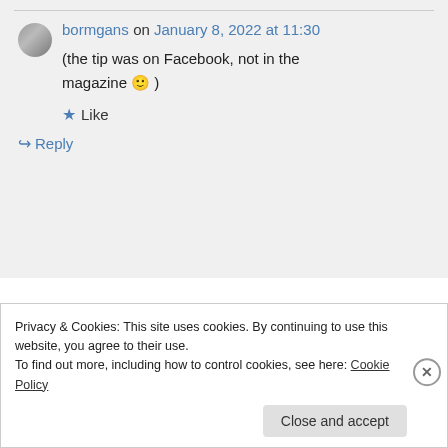bormgans on January 8, 2022 at 11:30
(the tip was on Facebook, not in the magazine 🙂 )
★ Like
↪ Reply
Privacy & Cookies: This site uses cookies. By continuing to use this website, you agree to their use.
To find out more, including how to control cookies, see here: Cookie Policy
Close and accept